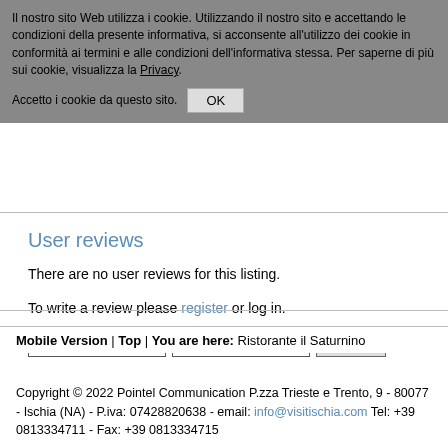Il nostro sito Web utilizza i cookie. Utilizzando il nostro sito e accettando le condizioni della presente informativa, si acconsente all'utilizzo dei cookie in conformità ai termini e alle condizioni dell'informativa stessa. Per saperne di più sui cookie, visualizza la Privacy.
Accetto i cookie da questo sito. OK
User reviews
There are no user reviews for this listing.
To write a review please register or log in.
Username ••••••••  Login
Mobile Version | Top | You are here: Ristorante il Saturnino
Copyright © 2022 Pointel Communication P.zza Trieste e Trento, 9 - 80077 - Ischia (NA) - P.iva: 07428820638 - email: info@visitischia.com Tel: +39 0813334711 - Fax: +39 0813334715